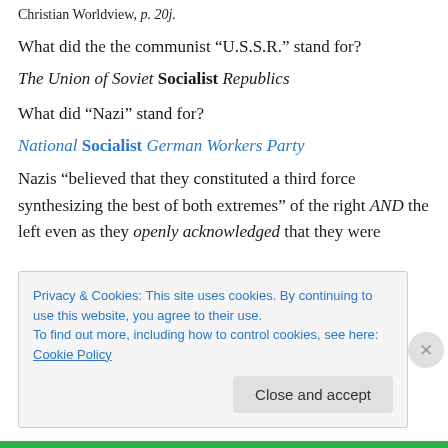Christian Worldview, p. 20j.
What did the the communist “U.S.S.R.” stand for?
The Union of Soviet Socialist Republics
What did “Nazi” stand for?
National Socialist German Workers Party
Nazis “believed that they constituted a third force synthesizing the best of both extremes” of the right AND the left even as they openly acknowledged that they were
Privacy & Cookies: This site uses cookies. By continuing to use this website, you agree to their use.
To find out more, including how to control cookies, see here: Cookie Policy
Close and accept